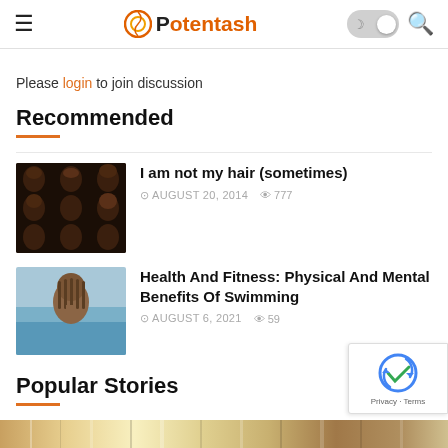Potentash
Please login to join discussion
Recommended
[Figure (photo): Grid of Black women with various natural hairstyles]
I am not my hair (sometimes)
AUGUST 20, 2014  777
[Figure (photo): Woman with braids in a swimming pool]
Health And Fitness: Physical And Mental Benefits Of Swimming
AUGUST 6, 2021  59
Popular Stories
[Figure (photo): Bottom strip image - partial view of a photo]
[Figure (other): reCAPTCHA badge with Privacy and Terms links]